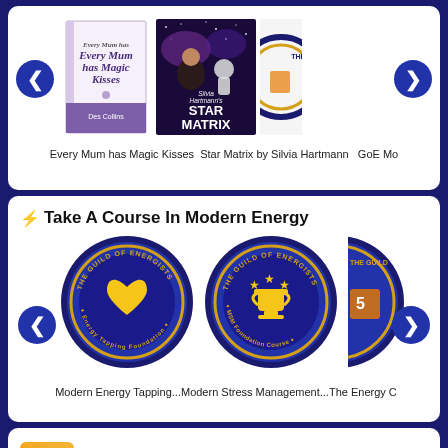[Figure (other): Carousel of books: 'Every Mum has Magic Kisses' book cover and 'Star Matrix by Silvia Hartmann' book cover, with navigation arrows, inside a white card]
Every Mum has Magic KissesStar Matrix by Silvia Hartmann  GoE Mo
⚡ Take A Course In Modern Energy
[Figure (other): Carousel of Guild of Energists course badges: Modern Energy Tapping (heart icon), MSM Foundation Course (trophy icon), and a third partially visible badge. Navigation arrows present.]
Modern Energy Tapping...Modern Stress Management...The Energy C
[Figure (other): Partial white card at bottom with a gold/orange box and text beginning 'By purchasing ENERGY8 By purchasing it will']